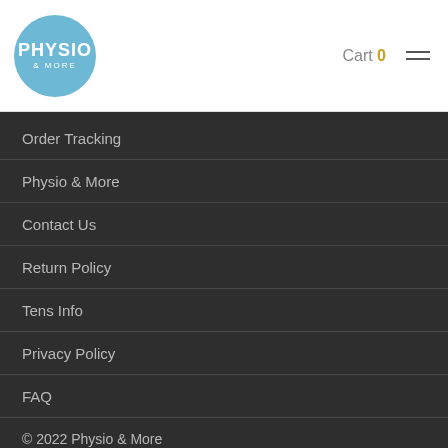[Figure (logo): Physio & More logo: blue circle with white text PHYSIO & MORE]
Cart 0
Order Tracking
Physio & More
Contact Us
Return Policy
Tens Info
Privacy Policy
FAQ
© 2022 Physio & More